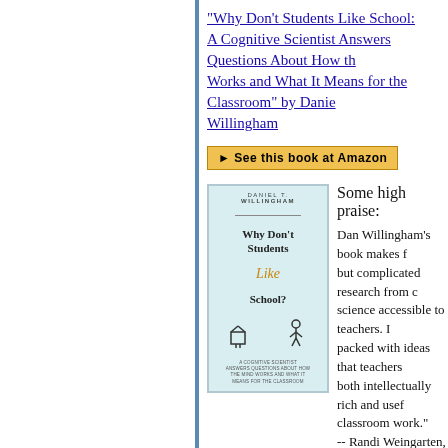"Why Don't Students Like School: A Cognitive Scientist Answers Questions About How the Mind Works and What It Means for the Classroom" by Daniel Willingham
[Figure (other): Amazon button: See this book at Amazon]
[Figure (illustration): Book cover of 'Why Don't Students Like School?' by Daniel T. Willingham, published by Jossey-Bass. Shows a chair and a figure on a light blue background.]
Some high praise:
Dan Willingham's book makes the complicated research from cognitive science accessible to teachers. It is packed with ideas that teachers will find both intellectually rich and useful in their classroom work."
-- Randi Weingarten, president, American Federation of Teachers
"This readable, practical book by a distinguished cognitive scientist explores the universal roots of effective teaching and learning. With great wit and clarity, it practices the principles it preaches — the best teachers' guide I know of, and a classic that belongs in the boo